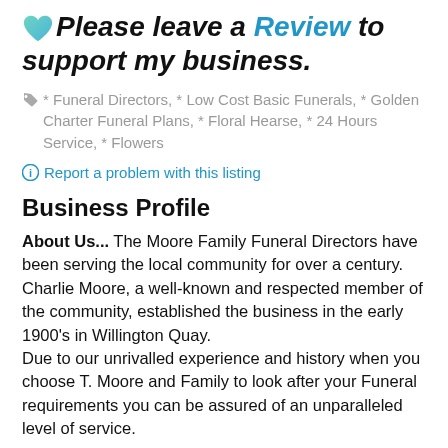💚 Please leave a Review to support my business.
* Funeral Directors, * Low Cost Basic Funerals, * Golden Charter Funeral Plans, * Floral Hearse, * 24 Hours Service, * Flowers
Report a problem with this listing
Business Profile
About Us... The Moore Family Funeral Directors have been serving the local community for over a century. Charlie Moore, a well-known and respected member of the community, established the business in the early 1900's in Willington Quay. Due to our unrivalled experience and history when you choose T. Moore and Family to look after your Funeral requirements you can be assured of an unparalleled level of service.